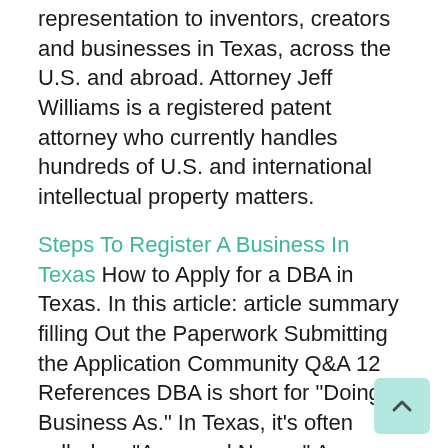representation to inventors, creators and businesses in Texas, across the U.S. and abroad. Attorney Jeff Williams is a registered patent attorney who currently handles hundreds of U.S. and international intellectual property matters.
Steps To Register A Business In Texas How to Apply for a DBA in Texas. In this article: article summary filling Out the Paperwork Submitting the Application Community Q&A 12 References DBA is short for "Doing Business As." In Texas, it's often called an "Assumed Name." A
HOUSTON, Feb. 26, 2018 /PRNewswire/ — The texas supreme court has become the first state high court to recognize that communications between non-lawyer patent agents and inventor clients are protecte...
Gilmore, of the Southern District of Texas in Houston, denied the request ... "Please stop trying to become my least favorite ...